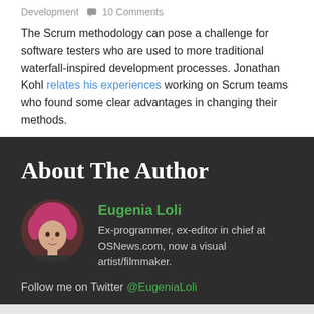Development  10 Comments
The Scrum methodology can pose a challenge for software testers who are used to more traditional waterfall-inspired development processes. Jonathan Kohl relates his experiences working on Scrum teams who found some clear advantages in changing their methods.
About The Author
[Figure (photo): Circular portrait photo of Eugenia Loli, a woman with pink/magenta hair]
Eugenia Loli
Ex-programmer, ex-editor in chief at OSNews.com, now a visual artist/filmmaker.
Follow me on Twitter @EugeniaLoli